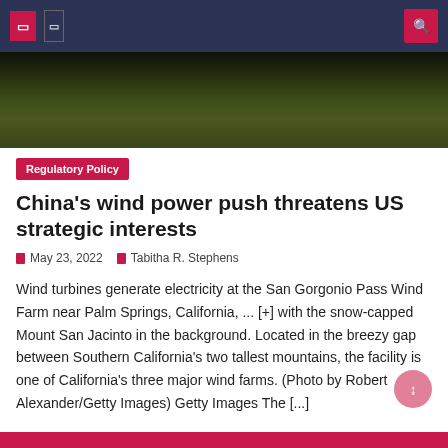[Figure (photo): Navigation bar with dark navy background, pink/red icon boxes on left and search icon on right]
[Figure (photo): Hero landscape photo showing green hills/trees with dark sky, likely near Palm Springs area]
Regulatory Policy
China's wind power push threatens US strategic interests
May 23, 2022   Tabitha R. Stephens
Wind turbines generate electricity at the San Gorgonio Pass Wind Farm near Palm Springs, California, ... [+] with the snow-capped Mount San Jacinto in the background. Located in the breezy gap between Southern California's two tallest mountains, the facility is one of California's three major wind farms. (Photo by Robert Alexander/Getty Images) Getty Images The [...]